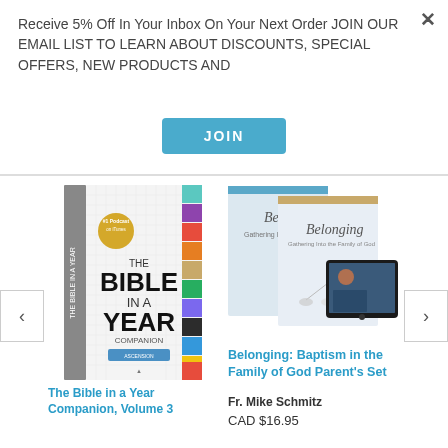Receive 5% Off In Your Inbox On Your Next Order JOIN OUR EMAIL LIST TO LEARN ABOUT DISCOUNTS, SPECIAL OFFERS, NEW PRODUCTS AND
JOIN
[Figure (illustration): The Bible in a Year Companion book cover with colorful spine tabs]
The Bible in a Year Companion, Volume 3
[Figure (illustration): Belonging: Baptism in the Family of God Parent's Set — two books and a tablet device]
Belonging: Baptism in the Family of God Parent's Set
Fr. Mike Schmitz
CAD $16.95